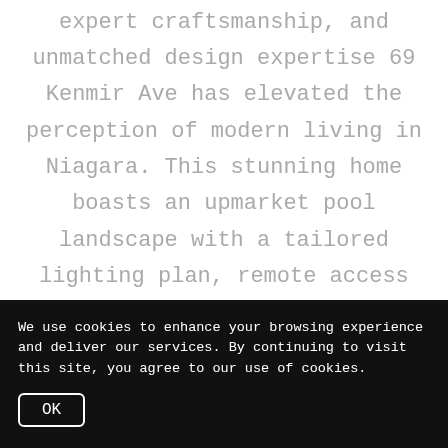This custom-built property far exceeds the average. Using expert craftsmanship, and unmatched design expertise 69 Kenmir Ave has elevated the perception of modern living in Niagara. This stunning home boasts an upmarket pool landscape with a tailored lighting plan, remote access controls to the pool, and a convenient pool house.
We use cookies to enhance your browsing experience and deliver our services. By continuing to visit this site, you agree to our use of cookies.
OK